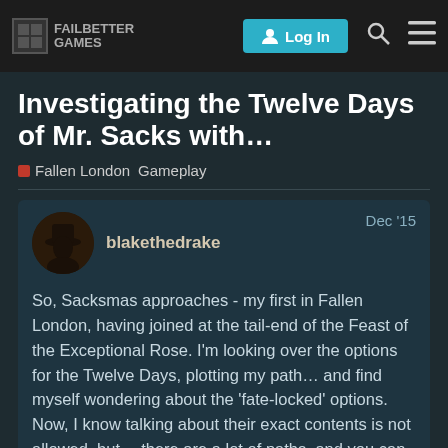Failbetter Games — Log In
Investigating the Twelve Days of Mr. Sacks with…
Fallen London   Gameplay
blakethedrake   Dec '15
So, Sacksmas approaches - my first in Fallen London, having joined at the tail-end of the Feast of the Exceptional Rose. I'm looking over the options for the Twelve Days, plotting my path… and find myself wondering about the 'fate-locked' options. Now, I know talking about their exact contents is not allowed, but… there are a lot of paths, and you can only follow one per year. Maybe someone who knows their way around them can recommend one? And are any of them… profitable? I mean, compared to what you'd get from the non-f the same days? (I'm particularly looking at
1 / 17